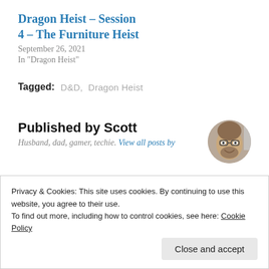Dragon Heist – Session 4 – The Furniture Heist
September 26, 2021
In "Dragon Heist"
Tagged:  D&D,  Dragon Heist
Published by Scott
Husband, dad, gamer, techie. View all posts by
[Figure (photo): Circular avatar photo of Scott, a man with glasses and a beard, smiling.]
Privacy & Cookies: This site uses cookies. By continuing to use this website, you agree to their use.
To find out more, including how to control cookies, see here: Cookie Policy
Close and accept